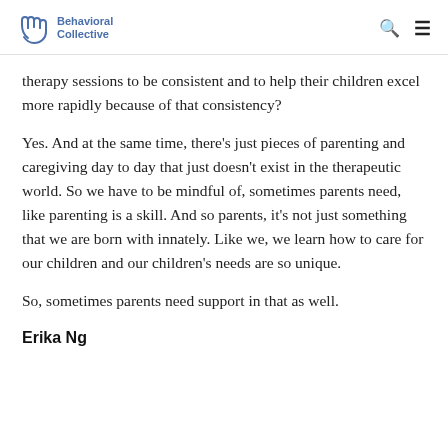Behavioral Collective
therapy sessions to be consistent and to help their children excel more rapidly because of that consistency?
Yes. And at the same time, there's just pieces of parenting and caregiving day to day that just doesn't exist in the therapeutic world. So we have to be mindful of, sometimes parents need, like parenting is a skill. And so parents, it's not just something that we are born with innately. Like we, we learn how to care for our children and our children's needs are so unique.
So, sometimes parents need support in that as well.
Erika Ng